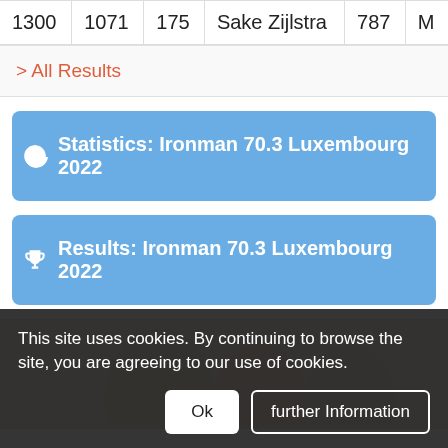| 1300 | 1071 | 175 | Sake Zijlstra | 787 | M |
> All Results
Statistics: Ironman 70.3 Luxembourg 2022
Results: Ironman 70.3 Luxembourg 2022
[Figure (photo): Partial photo of an athlete's legs, cropped, showing skin and possibly a blue item, against a light background.]
This site uses cookies. By continuing to browse the site, you are agreeing to our use of cookies.